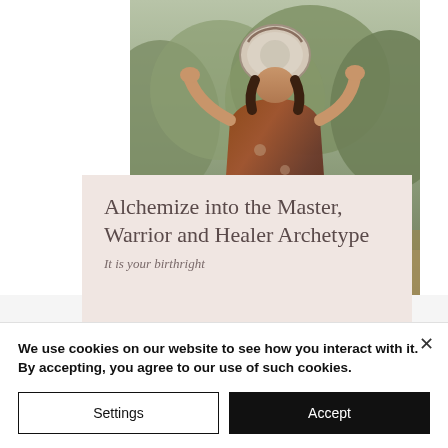[Figure (photo): A woman in a colorful bohemian dress holding a round object (bowl or mirror) above her face, standing in a natural outdoor setting with shrubs and dry grass in the background.]
Alchemize into the Master, Warrior and Healer Archetype
It is your birthright
We use cookies on our website to see how you interact with it. By accepting, you agree to our use of such cookies.